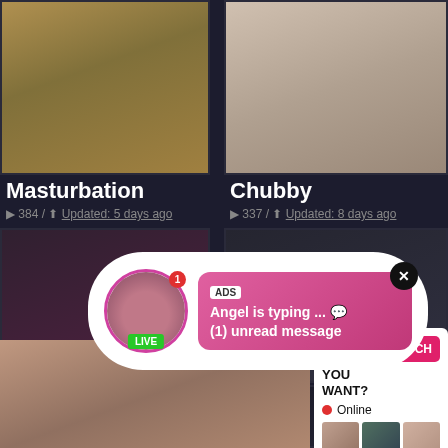[Figure (screenshot): Pornographic website screenshot showing thumbnail grid with video categories, overlaid with two popup ads: a live chat notification and a 'What do you want?' ad panel]
Masturbation
384 / Updated: 5 days ago
Chubby
337 / Updated: 8 days ago
Dre
23
ADS
Angel is typing ... 💬
(1) unread message
LIVE
WHAT DO YOU WANT?
Online
Cumming, ass fucking, squirt or...
• ADS
WATCH